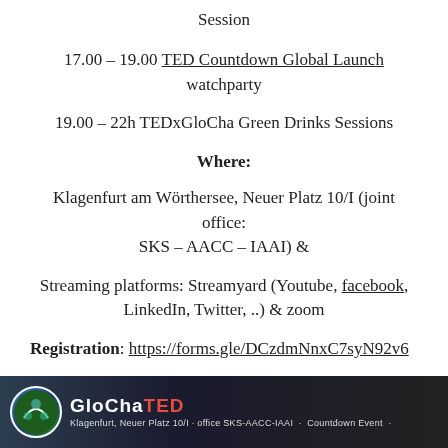Session
17.00 – 19.00 TED Countdown Global Launch watchparty
19.00 – 22h TEDxGloCha Green Drinks Sessions
Where:
Klagenfurt am Wörthersee, Neuer Platz 10/I (joint office: SKS – AACC – IAAI) &
Streaming platforms: Streamyard (Youtube, facebook, LinkedIn, Twitter, ..) & zoom
Registration: https://forms.gle/DCzdmNnxC7syN92v6
[Figure (photo): Dark banner image showing GloChaTED Countdown Event logo with a circular badge on the left and text about Klagenfurt Neuer Platz 10/I office SKS-AACC-IAAI]